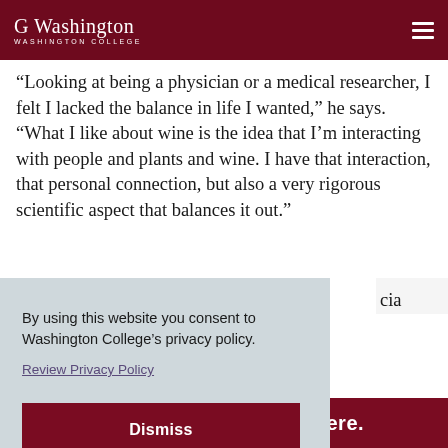Washington College
“Looking at being a physician or a medical researcher, I felt I lacked the balance in life I wanted,” he says. “What I like about wine is the idea that I’m interacting with people and plants and wine. I have that interaction, that personal connection, but also a very rigorous scientific aspect that balances it out.”
By using this website you consent to Washington College’s privacy policy. Review Privacy Policy
Dismiss
Do You. Do It All. Do It Here.